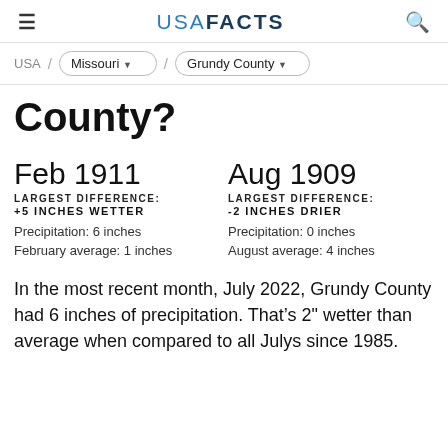USA FACTS
USA / Missouri / Grundy County
County?
Feb 1911
LARGEST DIFFERENCE:
+5 INCHES WETTER
Precipitation: 6 inches
February average: 1 inches
Aug 1909
LARGEST DIFFERENCE:
-2 INCHES DRIER
Precipitation: 0 inches
August average: 4 inches
In the most recent month, July 2022, Grundy County had 6 inches of precipitation. That’s 2" wetter than average when compared to all Julys since 1985.